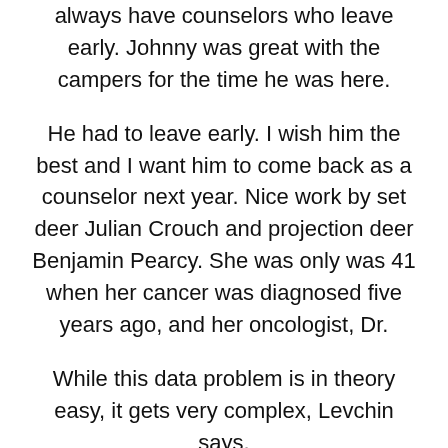always have counselors who leave early. Johnny was great with the campers for the time he was here.
He had to leave early. I wish him the best and I want him to come back as a counselor next year. Nice work by set deer Julian Crouch and projection deer Benjamin Pearcy. She was only was 41 when her cancer was diagnosed five years ago, and her oncologist, Dr.
While this data problem is in theory easy, it gets very complex, Levchin says.
Machine learning is his specialty from his past work at PayPal and Slide. The conditions often develop at ages during puberty, when eyes are changing the most, which is why the organization focuses on middle